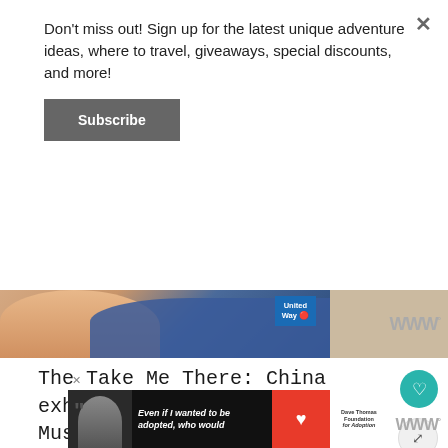Don't miss out! Sign up for the latest unique adventure ideas, where to travel, giveaways, special discounts, and more!
Subscribe
[Figure (screenshot): Partial advertisement banner showing a woman in a blue top with United Way logo visible]
[Figure (screenshot): Teal circular heart/like button and share button icons on right side]
The Take Me There: China exhibit at The Children's Museum of Indianapolis is such a fun environment to learn about Chinese culture.
[Figure (screenshot): What's Next widget showing: 'WHAT'S NEXT →' header with thumbnail and text 'Hours of Fun at The...']
[Figure (screenshot): Bottom advertisement banner with dark background showing 'Even if I wanted to be adopted, who would' text with Dave Thomas Foundation for Adoption logo]